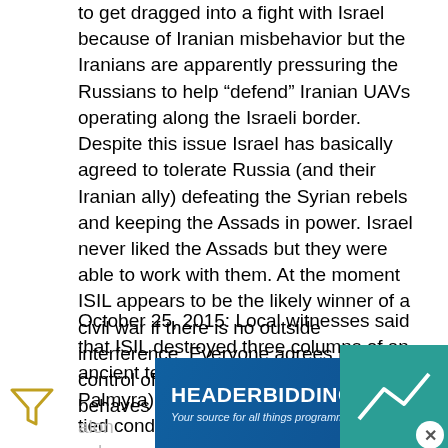to get dragged into a fight with Israel because of Iranian misbehavior but the Iranians are apparently pressuring the Russians to help “defend” Iranian UAVs operating along the Israeli border. Despite this issue Israel has basically agreed to tolerate Russia (and their Iranian ally) defeating the Syrian rebels and keeping the Assads in power. Israel never liked the Assads but they were able to work with them. At the moment ISIL appears to be the likely winner of a civil war if there is no outside interference. Everyone agrees ISIL control of Syria is the worst outcome and behaves accordingly.
October 25, 2015: Local witnesses said that ISIL destroyed three columns of an ancient temple in central Syria (near Palmyra) with explosives. But first ISIL tied condemned men to each of the columns before detonating them... along...
[Figure (screenshot): Advertisement banner for HEADERBIDDING.COM with tagline 'Your source for all things programmatic advertising.' shown at bottom of page.]